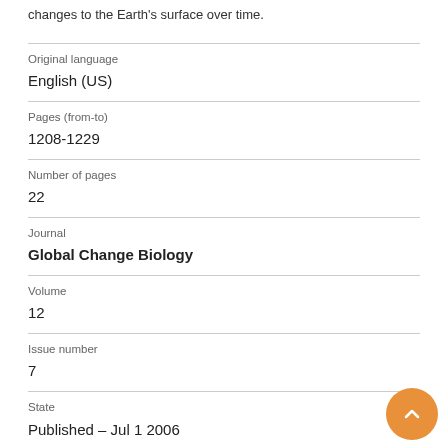changes to the Earth's surface over time.
| Original language | English (US) |
| Pages (from-to) | 1208-1229 |
| Number of pages | 22 |
| Journal | Global Change Biology |
| Volume | 12 |
| Issue number | 7 |
| State | Published – Jul 1 2006 |